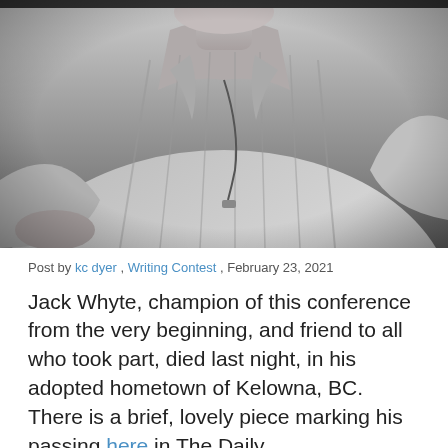[Figure (photo): Black and white portrait photograph of an elderly man wearing a striped polo shirt with a lanyard/whistle around his neck. The photo is cropped at the shoulders and shows the man from roughly the chin down, with his arm resting at the bottom of the frame.]
Post by kc dyer , Writing Contest , February 23, 2021
Jack Whyte, champion of this conference from the very beginning, and friend to all who took part, died last night, in his adopted hometown of Kelowna, BC. There is a brief, lovely piece marking his passing here in The Daily